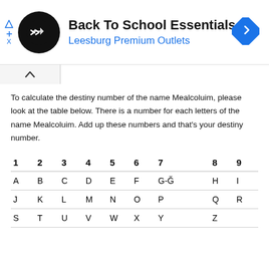[Figure (logo): Ad banner: Back To School Essentials at Leesburg Premium Outlets with circular logo and navigation icon]
To calculate the destiny number of the name Mealcoluim, please look at the table below. There is a number for each letters of the name Mealcoluim. Add up these numbers and that's your destiny number.
| 1 | 2 | 3 | 4 | 5 | 6 | 7 |  | 8 | 9 |
| --- | --- | --- | --- | --- | --- | --- | --- | --- | --- |
| A | B | C | D | E | F | G-Ğ |  | H | I |
| J | K | L | M | N | O | P |  | Q | R |
| S | T | U | V | W | X | Y |  | Z |  |